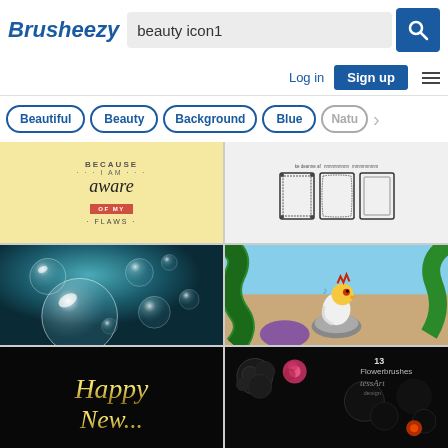[Figure (screenshot): Brusheezy website header with logo, search bar containing 'beauty icon1', search button, Log in and Sign up buttons, and hamburger menu icon]
[Figure (screenshot): Tag/category pills: Beautiful, Beauty, Background, Blue, Natu (partially visible), and right arrow]
[Figure (illustration): Typographic quote card with cream background: 'BECAUSE I AM aware OF MY FLAWS']
[Figure (illustration): Ornate decorative border/frame designs - three rectangular frames with floral/vine patterns]
[Figure (illustration): Transparent glass bubble spheres on dark teal background]
[Figure (illustration): Cartoon character - animated bird/rooster on a rock with green snake/dragon border]
[Figure (illustration): Happy New Year gold calligraphy script on black background]
[Figure (illustration): 13 Flowerbrushes - tessArt design - flower brush set on dark background]